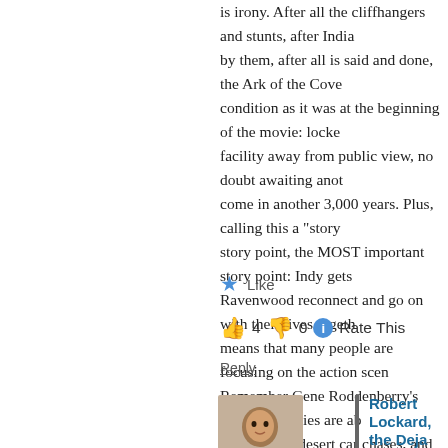is irony. After all the cliffhangers and stunts, after India... by them, after all is said and done, the Ark of the Cove... condition as it was at the beginning of the movie: locke... facility away from public view, no doubt awaiting anot... come in another 3,000 years. Plus, calling this a “story story point, the MOST important story point: Indy gets Ravenwood reconnect and go on with their lives togeth... means that many people are focusing on the action scen... Remember Gene Roddenberry’s dictum, “Stories are ab... submarines, desert car chases, and machine guns. Peop...
★ Like
👍 4 👎 0 ⓘ Rate This
Reply
[Figure (photo): Avatar photo of Robert Lockard, the Deja Reviewer]
Robert Lockard, the Deja Reviewer says
August 12, 2014 at 9:33 am